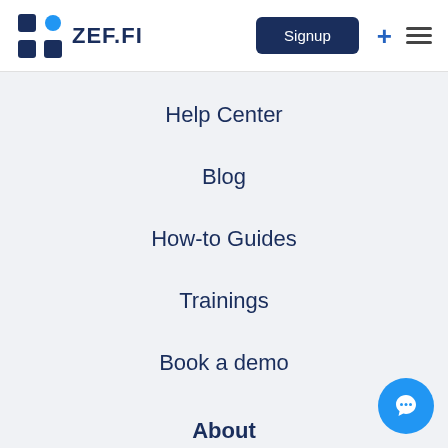ZEF.FI — Signup header with logo, Signup button, plus icon, hamburger menu
Help Center
Blog
How-to Guides
Trainings
Book a demo
About
Contact Us
Privacy & Terms